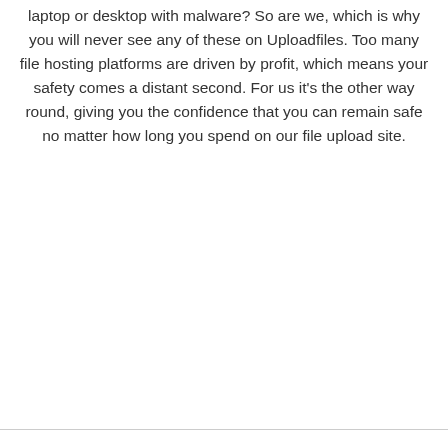laptop or desktop with malware? So are we, which is why you will never see any of these on Uploadfiles. Too many file hosting platforms are driven by profit, which means your safety comes a distant second. For us it's the other way round, giving you the confidence that you can remain safe no matter how long you spend on our file upload site.